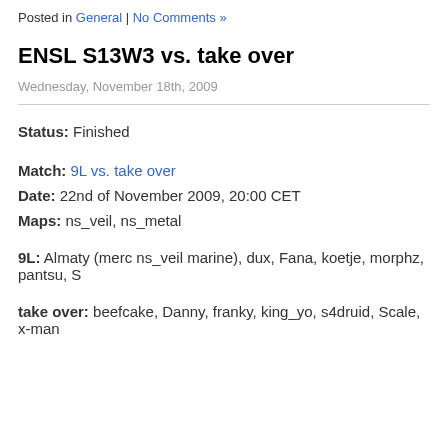Posted in General | No Comments »
ENSL S13W3 vs. take over
Wednesday, November 18th, 2009
Status: Finished
Match: 9L vs. take over
Date: 22nd of November 2009, 20:00 CET
Maps: ns_veil, ns_metal
9L: Almaty (merc ns_veil marine), dux, Fana, koetje, morphz, pantsu, S
take over: beefcake, Danny, franky, king_yo, s4druid, Scale, x-man